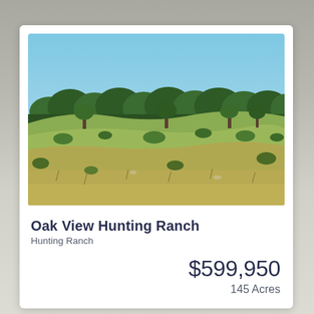[Figure (photo): Outdoor landscape photo showing a Texas hunting ranch with open grassland in the foreground, scattered oak trees in the mid-ground, and a clear blue sky. The terrain is rolling with green and straw-colored grasses.]
Oak View Hunting Ranch
Hunting Ranch
$599,950
145 Acres